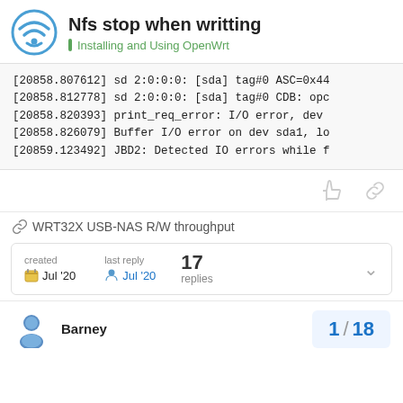Nfs stop when writting — Installing and Using OpenWrt
[20858.807612] sd 2:0:0:0: [sda] tag#0 ASC=0x44
[20858.812778] sd 2:0:0:0: [sda] tag#0 CDB: opc
[20858.820393] print_req_error: I/O error, dev
[20858.826079] Buffer I/O error on dev sda1, lo
[20859.123492] JBD2: Detected IO errors while f
WRT32X USB-NAS R/W throughput
| created | last reply | 17 replies |
| --- | --- | --- |
| Jul '20 | Jul '20 |  |
Barney
1 / 18